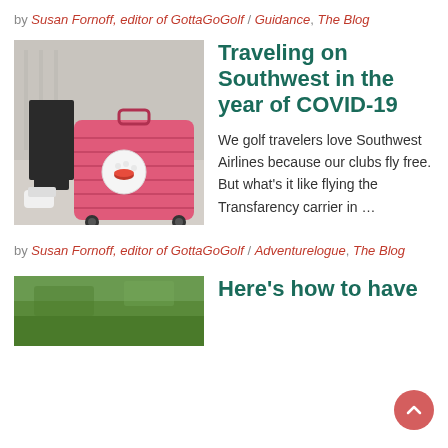by Susan Fornoff, editor of GottaGoGolf / Guidance, The Blog
[Figure (photo): Person sitting on a pink suitcase with luggage tag featuring a golf ball with red lips, in an airport setting]
Traveling on Southwest in the year of COVID-19
We golf travelers love Southwest Airlines because our clubs fly free. But what's it like flying the Transfarency carrier in ...
by Susan Fornoff, editor of GottaGoGolf / Adventurelogue, The Blog
[Figure (photo): Green golf course or grassy landscape, partially visible]
Here's how to have